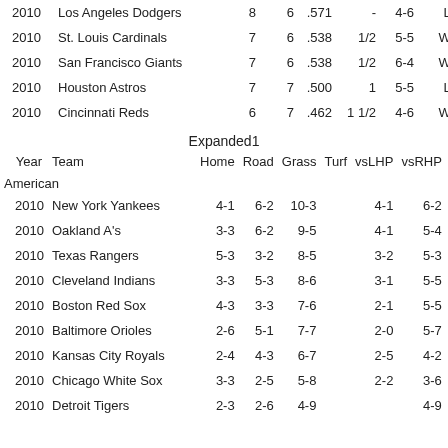| Year | Team | W | L | Pct | GB | Home | Streak | Last10 |
| --- | --- | --- | --- | --- | --- | --- | --- | --- |
| 2010 | Los Angeles Dodgers | 8 | 6 | .571 | - | 4-6 | L2 | llwwwlllw |
| 2010 | St. Louis Cardinals | 7 | 6 | .538 | 1/2 | 5-5 | W1 | wlllwlwwwl |
| 2010 | San Francisco Giants | 7 | 6 | .538 | 1/2 | 6-4 | W2 | wwlwwllwlw |
| 2010 | Houston Astros | 7 | 7 | .500 | 1 | 5-5 | L2 | llwllwwwwl |
| 2010 | Cincinnati Reds | 6 | 7 | .462 | 1 1/2 | 4-6 | W2 | wwllwwwlll |
Expanded1
| Year | Team | Home | Road | Grass | Turf | vsLHP | vsRHP | Div |
| --- | --- | --- | --- | --- | --- | --- | --- | --- |
|  | American |  |  |  |  |  |  |  |
| 2010 | New York Yankees | 4-1 | 6-2 | 10-3 |  | 4-1 | 6-2 | 8-2 |
| 2010 | Oakland A's | 3-3 | 6-2 | 9-5 |  | 4-1 | 5-4 | 9-5 |
| 2010 | Texas Rangers | 5-3 | 3-2 | 8-5 |  | 3-2 | 5-3 | 8-2 |
| 2010 | Cleveland Indians | 3-3 | 5-3 | 8-6 |  | 3-1 | 5-5 | 8-6 |
| 2010 | Boston Red Sox | 4-3 | 3-3 | 7-6 |  | 2-1 | 5-5 | 4-6 |
| 2010 | Baltimore Orioles | 2-6 | 5-1 | 7-7 |  | 2-0 | 5-7 | 5-7 |
| 2010 | Kansas City Royals | 2-4 | 4-3 | 6-7 |  | 2-5 | 4-2 | 4-6 |
| 2010 | Chicago White Sox | 3-3 | 2-5 | 5-8 |  | 2-2 | 3-6 | 4-6 |
| 2010 | Detroit Tigers | 2-3 | 2-6 | 4-9 |  |  | 4-9 | 3-7 |